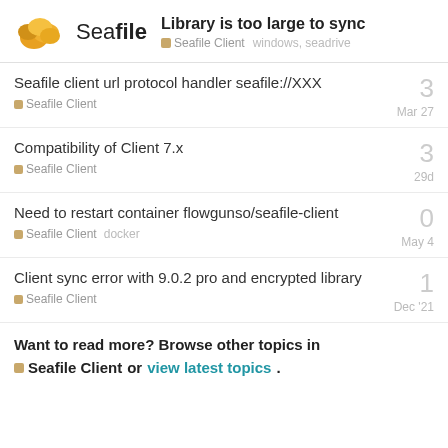Library is too large to sync — Seafile Client  windows, seadrive
Seafile client url protocol handler seafile://XXX — Seafile Client — 3 replies — Mar 27
Compatibility of Client 7.x — Seafile Client — 3 replies — 29d
Need to restart container flowgunso/seafile-client — Seafile Client  docker — 0 replies — May 4
Client sync error with 9.0.2 pro and encrypted library — Seafile Client — 1 reply — Dec '21
Want to read more? Browse other topics in Seafile Client or view latest topics.